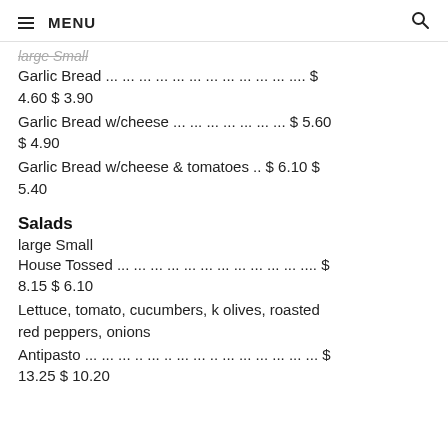≡ MENU  🔍
large Small
Garlic Bread ... ... ... ... ... ... ... ... ... ... ... .... $ 4.60 $ 3.90
Garlic Bread w/cheese ... ... ... ... ... ... ... $ 5.60 $ 4.90
Garlic Bread w/cheese & tomatoes .. $ 6.10 $ 5.40
Salads
large Small
House Tossed ... ... ... ... ... ... ... ... ... ... ... .... $ 8.15 $ 6.10
Lettuce, tomato, cucumbers, k olives, roasted red peppers, onions
Antipasto ... ... ... .. ... .. ... ... .. ... ... ... ... ... ... $ 13.25 $ 10.20